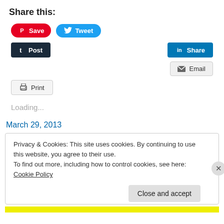Share this:
[Figure (screenshot): Social sharing buttons: Pinterest Save, Twitter Tweet, Tumblr Post, LinkedIn Share, Email, Print]
Loading...
March 29, 2013
Privacy & Cookies: This site uses cookies. By continuing to use this website, you agree to their use.
To find out more, including how to control cookies, see here: Cookie Policy
Close and accept